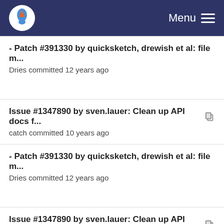Menu
- Patch #391330 by quicksketch, drewish et al: file m...
Dries committed 12 years ago
Issue #1347890 by sven.lauer: Clean up API docs f...
catch committed 10 years ago
- Patch #391330 by quicksketch, drewish et al: file m...
Dries committed 12 years ago
Issue #1347890 by sven.lauer: Clean up API docs f...
catch committed 10 years ago
- Patch #391330 by quicksketch, drewish et al: file m...
Dries committed 12 years ago